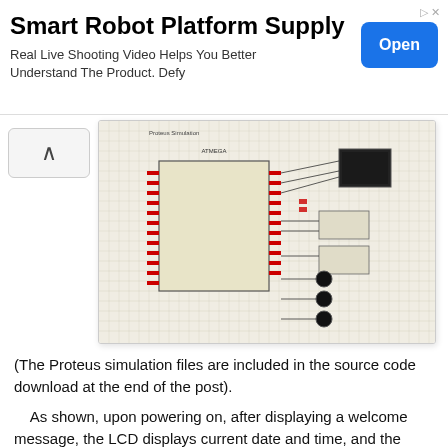[Figure (other): Advertisement banner for Smart Robot Platform Supply with Open button]
[Figure (circuit-diagram): Proteus simulation schematic showing a microcontroller circuit with LCD, relays, LEDs and UART connections on a grid background]
(The Proteus simulation files are included in the source code download at the end of the post).
As shown, upon powering on, after displaying a welcome message, the LCD displays current date and time, and the output status (via two relays). The output ON is also indicated using a Red LED on the circuit. The terminal (UART) in the circuit is kept extra, in case someone wants to use terminal instead of LCD and push-buttons to display/set timings (This further reduces the hardware onboard, it will